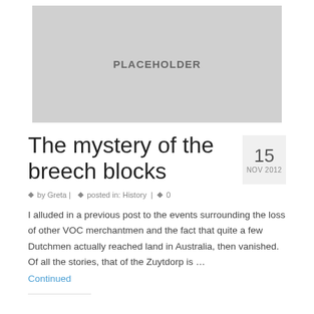[Figure (photo): Gray placeholder image block with text PLACEHOLDER centered in it]
The mystery of the breech blocks
15 NOV 2012
by Greta | posted in: History | 0
I alluded in a previous post to the events surrounding the loss of other VOC merchantmen and the fact that quite a few Dutchmen actually reached land in Australia, then vanished. Of all the stories, that of the Zuytdorp is … Continued